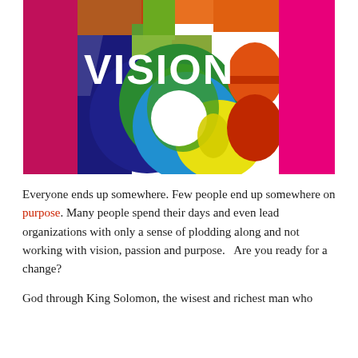[Figure (illustration): Colorful abstract graphic with overlapping letters 'Y', 'M', 'S' in multiple bright colors (magenta, orange, yellow, green, blue, dark blue) with overlapping circular shapes. The word 'VISION' is displayed in large white bold text overlaid on the left portion of the graphic.]
Everyone ends up somewhere. Few people end up somewhere on purpose. Many people spend their days and even lead organizations with only a sense of plodding along and not working with vision, passion and purpose.   Are you ready for a change?
God through King Solomon, the wisest and richest man who